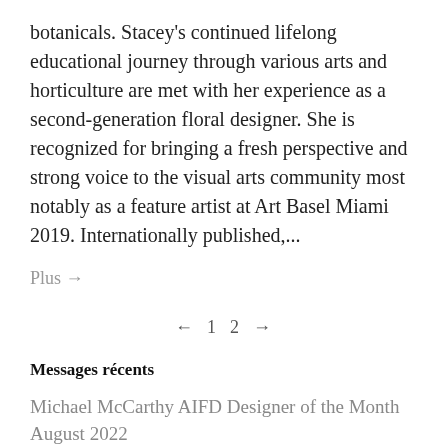botanicals. Stacey's continued lifelong educational journey through various arts and horticulture are met with her experience as a second-generation floral designer. She is recognized for bringing a fresh perspective and strong voice to the visual arts community most notably as a feature artist at Art Basel Miami 2019. Internationally published,...
Plus →
← 1 2 →
Messages récents
Michael McCarthy AIFD Designer of the Month August 2022
1 août 2022